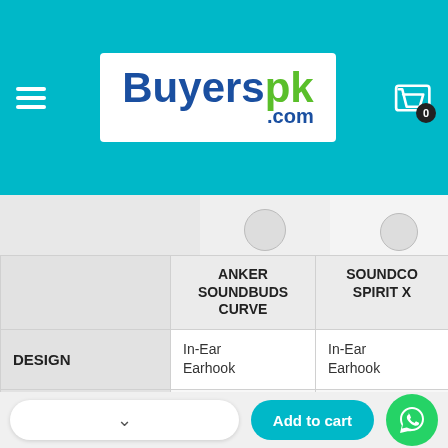Buyerspk.com — navigation header with hamburger menu and cart icon showing 0 items
|  | ANKER SOUNDBUDS CURVE | SOUNDCO SPIRIT X |
| --- | --- | --- |
| DESIGN | In-Ear
Earhook | In-Ear
Earhook |
|  | 10 mm
Drivers | 10 mm
Dr... |
Add to cart